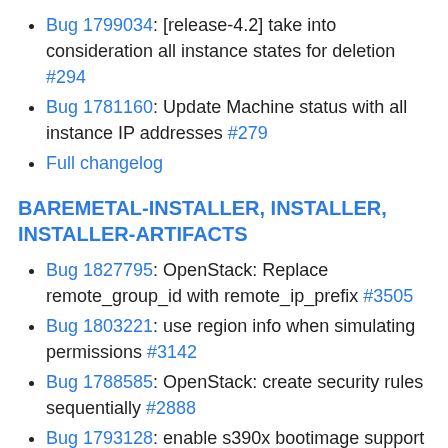Bug 1799034: [release-4.2] take into consideration all instance states for deletion #294
Bug 1781160: Update Machine status with all instance IP addresses #279
Full changelog
BAREMETAL-INSTALLER, INSTALLER, INSTALLER-ARTIFACTS
Bug 1827795: OpenStack: Replace remote_group_id with remote_ip_prefix #3505
Bug 1803221: use region info when simulating permissions #3142
Bug 1788585: OpenStack: create security rules sequentially #2888
Bug 1793128: enable s390x bootimage support #2933
Bug 1788707: Backport Azure private DNS to 4.2 branch #2825